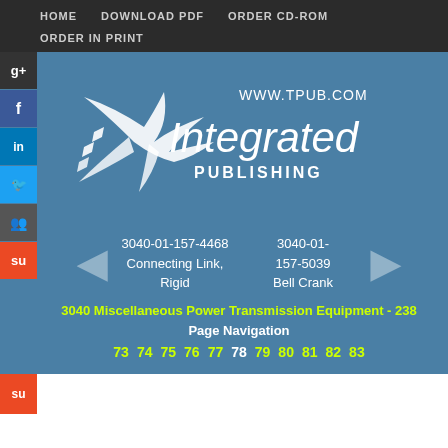HOME   DOWNLOAD PDF   ORDER CD-ROM   ORDER IN PRINT
[Figure (logo): Integrated Publishing logo with bird/seagull graphic and WWW.TPUB.COM text]
3040-01-157-4468 Connecting Link, Rigid
3040-01-157-5039 Bell Crank
3040 Miscellaneous Power Transmission Equipment - 238
Page Navigation
73 74 75 76 77 78 79 80 81 82 83